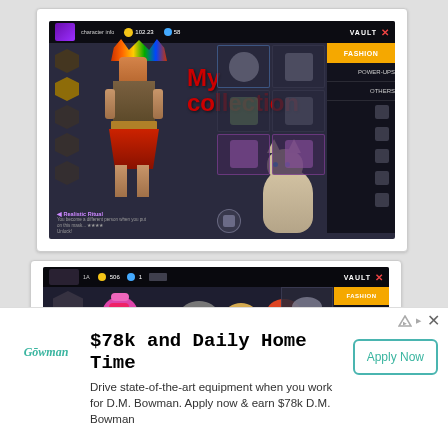[Figure (screenshot): Mobile game screenshot showing a character customization vault screen. A tribal warrior character with colorful headdress stands center. Text overlay reads 'My collection' in red. Right panel shows FASHION, POWER-UPS, OTHERS tabs. Item grid visible with helmet and armor pieces. A cat is visible in the lower right area.]
[Figure (screenshot): Mobile game screenshot showing character selection/vault screen with VAULT label top right. Multiple characters visible including a purple character, white armored character, gold character, and red character. FASHION tab active in orange. POWER-UPS tab below. Coin count shows 506.]
$78k and Daily Home Time
[Figure (logo): D.M. Bowman company logo in teal italic script text]
Drive state-of-the-art equipment when you work for D.M. Bowman. Apply now & earn $78k D.M. Bowman
Apply Now